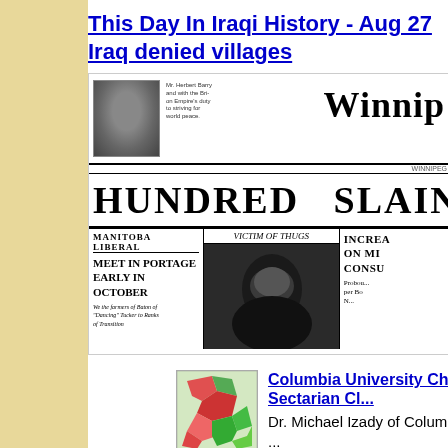This Day In Iraqi History - Aug 27 Iraq denied villages
[Figure (photo): Newspaper front page showing 'Winnipeg' masthead with a portrait photo, headline reading 'HUNDRED SLAIN IN' and sub-columns including 'MANITOBA LIBERAL MEET IN PORTAGE EARLY IN OCTOBER' and 'VICTIM OF THUGS']
[Figure (map): Small thumbnail map showing sectarian geography with colored regions in red and green]
Columbia University Charts Sectarian Cl...
Dr. Michael Izady of Columbia's School ... based International Relat...